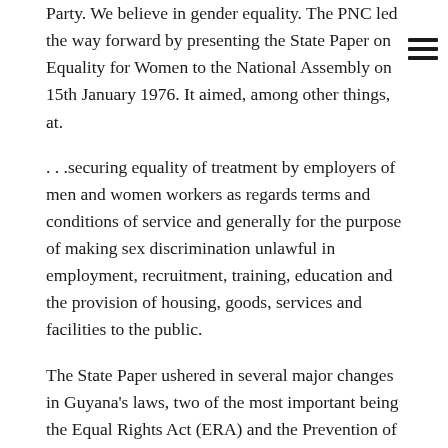Party. We believe in gender equality. The PNC led the way forward by presenting the State Paper on Equality for Women to the National Assembly on 15th January 1976. It aimed, among other things, at.
…securing equality of treatment by employers of men and women workers as regards terms and conditions of service and generally for the purpose of making sex discrimination unlawful in employment, recruitment, training, education and the provision of housing, goods, services and facilities to the public.
The State Paper ushered in several major changes in Guyana's laws, two of the most important being the Equal Rights Act (ERA) and the Prevention of Discrimination Act (PDA), which sought to make discrimination on the basis of gender, race, religion, or status a criminal offence.